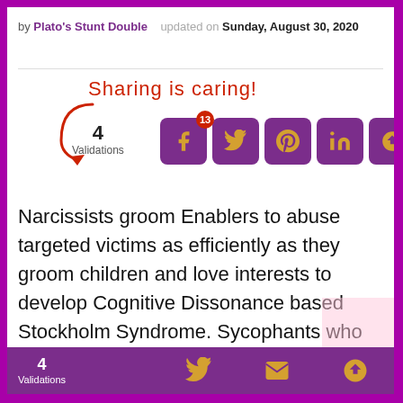by Plato's Stunt Double   updated on Sunday, August 30, 2020
[Figure (infographic): Sharing is caring social sharing widget with arrow, 4 Validations count, and social media buttons for Facebook (badge 13), Twitter, Pinterest, LinkedIn, and a share icon]
Narcissists groom Enablers to abuse targeted victims as efficiently as they groom children and love interests to develop Cognitive Dissonance based Stockholm Syndrome. Sycophants who believe they have a Narcissist under control are likely to find out they were recruited to act like Flying Monkeys
4 Validations  [Twitter icon] [Mail icon] [Share icon]